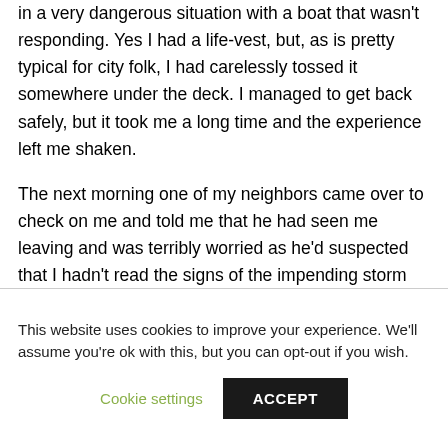in a very dangerous situation with a boat that wasn't responding. Yes I had a life-vest, but, as is pretty typical for city folk, I had carelessly tossed it somewhere under the deck. I managed to get back safely, but it took me a long time and the experience left me shaken.
The next morning one of my neighbors came over to check on me and told me that he had seen me leaving and was terribly worried as he'd suspected that I hadn't read the signs of the impending storm and didn't realize how quickly the lake could whip up.
This website uses cookies to improve your experience. We'll assume you're ok with this, but you can opt-out if you wish.